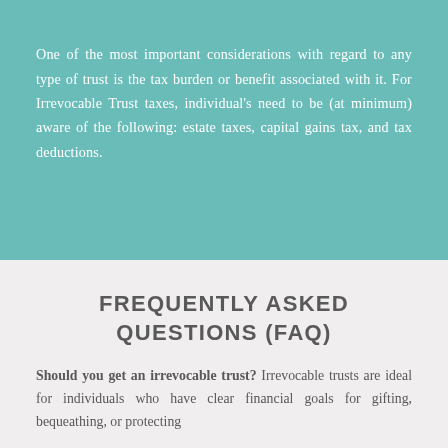One of the most important considerations with regard to any type of trust is the tax burden or benefit associated with it. For Irrevocable Trust taxes, individual's need to be (at minimum) aware of the following: estate taxes, capital gains tax, and tax deductions.
FREQUENTLY ASKED QUESTIONS (FAQ)
Should you get an irrevocable trust? Irrevocable trusts are ideal for individuals who have clear financial goals for gifting, bequeathing, or protecting